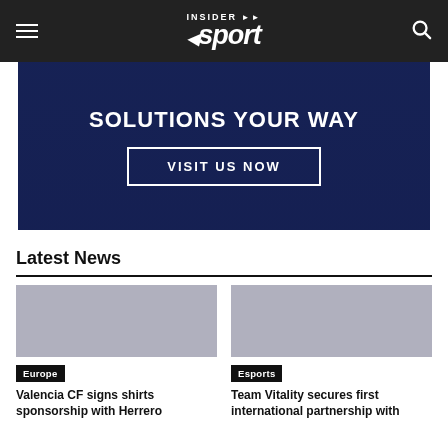INSIDER sport
[Figure (other): Dark blue advertisement banner with text 'SOLUTIONS YOUR WAY' and a 'VISIT US NOW' button with white border]
Latest News
Europe — Valencia CF signs shirts sponsorship with Herrero
Esports — Team Vitality secures first international partnership with